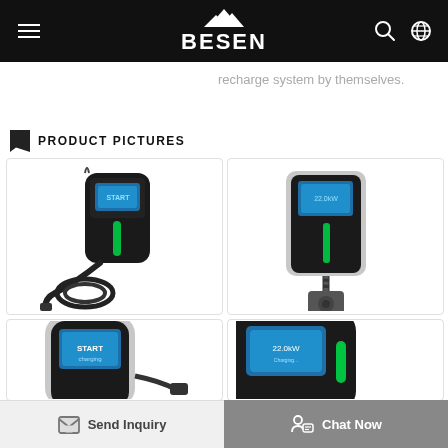BESEN
recharge system by themselves.
PRODUCT PICTURES
[Figure (photo): EV wall charger with black glossy finish, blue display screen, green LED, and coiled cable with connector]
[Figure (photo): EV wall charger with gray/silver body, blue display, green LED, and cable with round adapter plug]
[Figure (photo): EV wall charger partial view, gray/silver body with blue display screen and connector plug]
[Figure (photo): EV wall charger partial close-up view showing blue display screen and green LED]
Send Inquiry
Chat Now